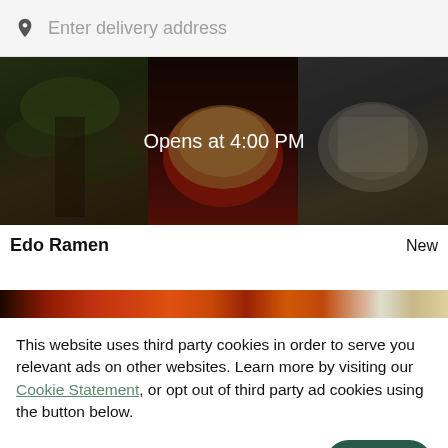Enter delivery address
[Figure (photo): Restaurant food banner image showing ramen and dishes with overlay text 'Opens at 4:00 PM']
Edo Ramen
New
[Figure (photo): Colorful food strip image showing warm-toned dishes]
This website uses third party cookies in order to serve you relevant ads on other websites. Learn more by visiting our Cookie Statement, or opt out of third party ad cookies using the button below.
OPT OUT
GOT IT